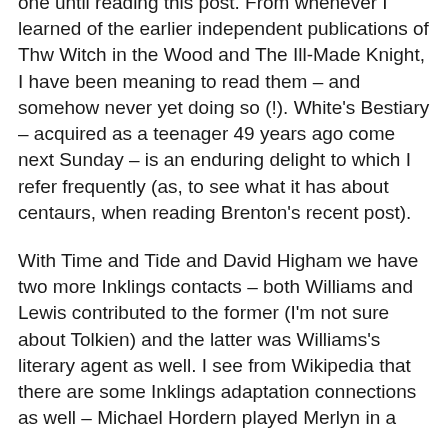one until reading this post. From whenever I learned of the earlier independent publications of Thw Witch in the Wood and The Ill-Made Knight, I have been meaning to read them – and somehow never yet doing so (!). White's Bestiary – acquired as a teenager 49 years ago come next Sunday – is an enduring delight to which I refer frequently (as, to see what it has about centaurs, when reading Brenton's recent post).
With Time and Tide and David Higham we have two more Inklings contacts – both Williams and Lewis contributed to the former (I'm not sure about Tolkien) and the latter was Williams's literary agent as well. I see from Wikipedia that there are some Inklings adaptation connections as well – Michael Hordern played Merlyn in a